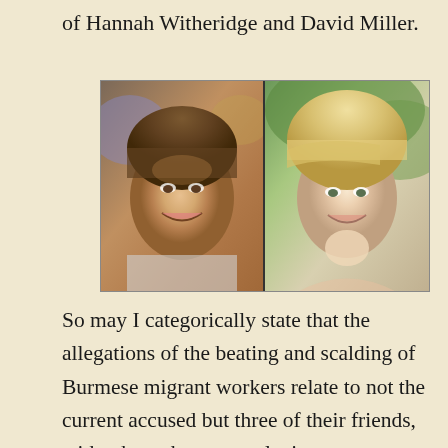of Hannah Witheridge and David Miller.
[Figure (photo): Side-by-side photos of a young man (left, smiling, brown hair) and a young woman (right, smiling, blonde hair) separated by a vertical divider line.]
So may I categorically state that the allegations of the beating and scalding of Burmese migrant workers relate to not the current accused but three of their friends, with whom they were playing takroh/takraw on Saturday September 27th.